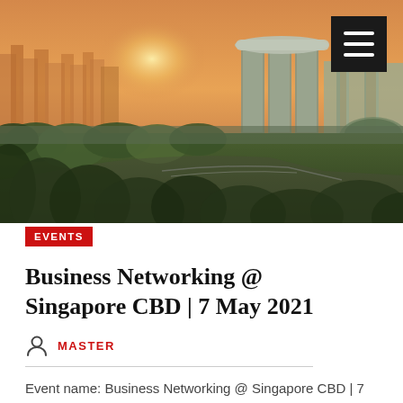[Figure (photo): Aerial cityscape photo of Singapore CBD at golden hour/sunset, showing Marina Bay Sands hotel, Gardens by the Bay, green parks, and urban skyline with warm orange light]
EVENTS
Business Networking @ Singapore CBD | 7 May 2021
MASTER
Event name: Business Networking @ Singapore CBD | 7 May 2021
Date: 7 May 2021 | 5pm Venue: Hans Cafe @ Singapore National Library Come...